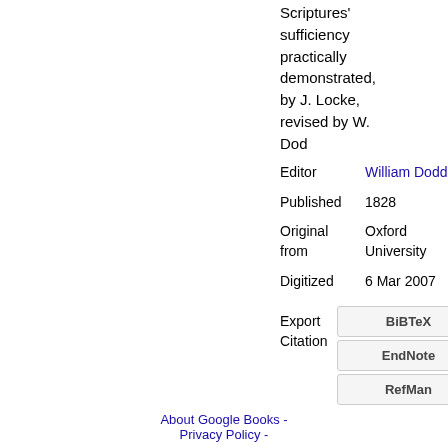Scriptures' sufficiency practically demonstrated, by J. Locke, revised by W. Dod
| Editor | William Dodd |
| Published | 1828 |
| Original from | Oxford University |
| Digitized | 6 Mar 2007 |
Export Citation
BiBTeX
EndNote
RefMan
About Google Books - Privacy Policy -